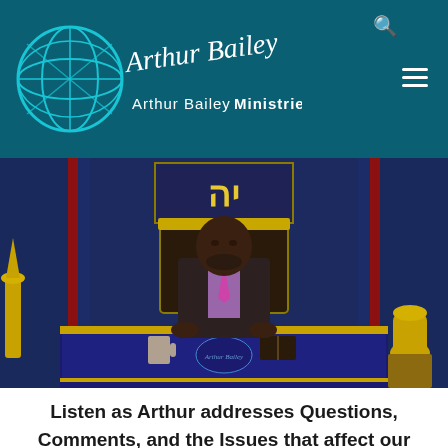[Figure (logo): Arthur Bailey Ministries logo with globe and signature on teal/dark cyan header background]
[Figure (photo): Arthur Bailey standing at a podium/table with blue velvet cloth, wearing a dark suit and pink tie, in front of a stage set with Hebrew text on a banner, blue curtains, and gold vessels on either side]
Listen as Arthur addresses Questions, Comments, and the Issues that affect our